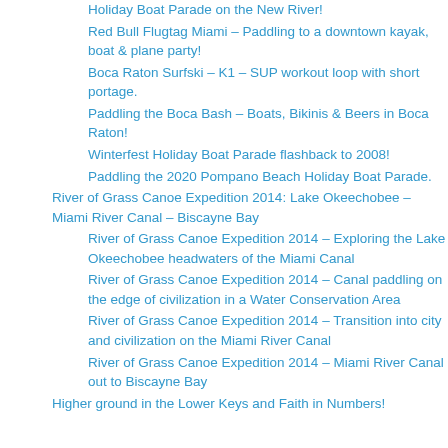Holiday Boat Parade on the New River!
Red Bull Flugtag Miami – Paddling to a downtown kayak, boat & plane party!
Boca Raton Surfski – K1 – SUP workout loop with short portage.
Paddling the Boca Bash – Boats, Bikinis & Beers in Boca Raton!
Winterfest Holiday Boat Parade flashback to 2008!
Paddling the 2020 Pompano Beach Holiday Boat Parade.
River of Grass Canoe Expedition 2014: Lake Okeechobee – Miami River Canal – Biscayne Bay
River of Grass Canoe Expedition 2014 – Exploring the Lake Okeechobee headwaters of the Miami Canal
River of Grass Canoe Expedition 2014 – Canal paddling on the edge of civilization in a Water Conservation Area
River of Grass Canoe Expedition 2014 – Transition into city and civilization on the Miami River Canal
River of Grass Canoe Expedition 2014 – Miami River Canal out to Biscayne Bay
Higher ground in the Lower Keys and Faith in Numbers!